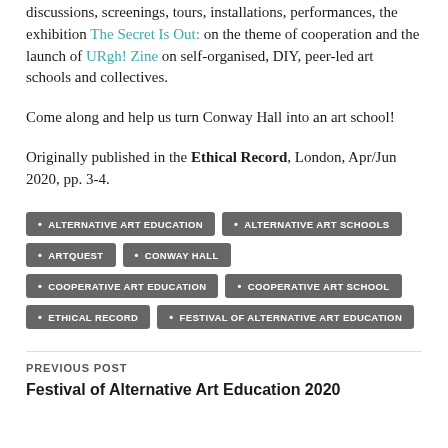discussions, screenings, tours, installations, performances, the exhibition The Secret Is Out: on the theme of cooperation and the launch of URgh! Zine on self-organised, DIY, peer-led art schools and collectives.
Come along and help us turn Conway Hall into an art school!
Originally published in the Ethical Record, London, Apr/Jun 2020, pp. 3-4.
ALTERNATIVE ART EDUCATION
ALTERNATIVE ART SCHOOLS
ARTQUEST
CONWAY HALL
COOPERATIVE ART EDUCATION
COOPERATIVE ART SCHOOL
ETHICAL RECORD
FESTIVAL OF ALTERNATIVE ART EDUCATION
PREVIOUS POST
Festival of Alternative Art Education 2020